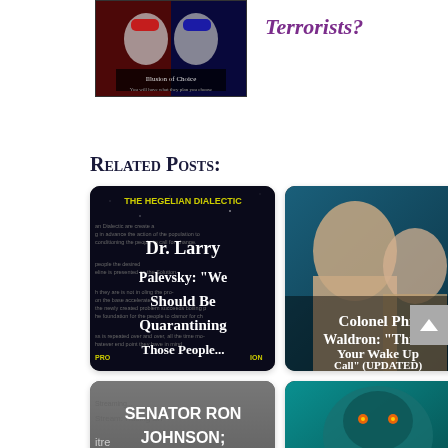[Figure (illustration): Book or movie cover showing two figures with red and blue color scheme, titled 'Illusion of Choice']
Terrorists?
Related Posts:
[Figure (illustration): Dark background with text about Hegelian Dialectic overlaid with text: Dr. Larry Palevsky: 'We Should Be Quarantining Those People...']
[Figure (photo): Two men's faces, teal background, text overlay: Colonel Phil Waldron: 'This Is Your Wake Up Call' (UPDATED)]
[Figure (illustration): Gray background with text: SENATOR RON JOHNSON; COVID-19: A [DOSE?...]]
[Figure (illustration): Fantasy creature on teal background with text: Powell & Guiliani Release The [Kraken? full text cut off]]